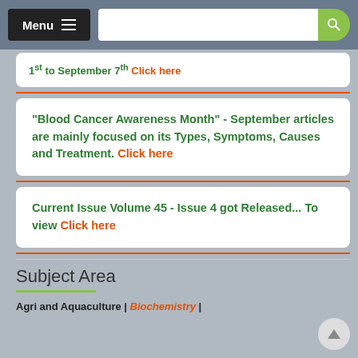Menu
1st to September 7th Click here
"Blood Cancer Awareness Month" - September articles are mainly focused on its Types, Symptoms, Causes and Treatment. Click here
Current Issue Volume 45 - Issue 4 got Released... To view Click here
Subject Area
Agri and Aquaculture | Biochemistry |